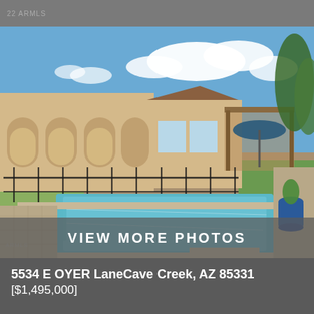22 ARMLS
[Figure (photo): Exterior rear view of a Southwestern-style home with a rectangular pool in the foreground, black pool fence, covered outdoor patio with umbrella, blue planters, lush greenery, and a blue sky with white clouds.]
VIEW MORE PHOTOS
5534 E OYER LaneCave Creek, AZ 85331
[$1,495,000]